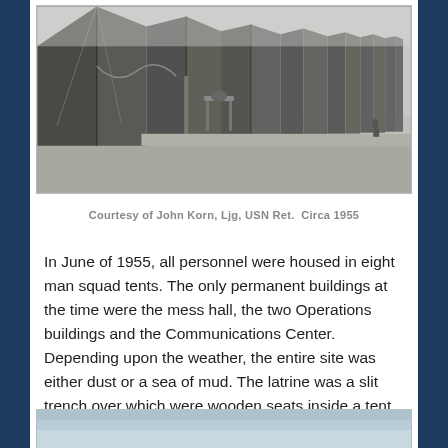[Figure (photo): Black and white photograph showing a row of military squad tents in a sandy/muddy area, circa 1955. A wooden table or stand is visible between tents.]
Courtesy of John Korn, Ljg, USN Ret.  Circa 1955
In June of 1955, all personnel were housed in eight man squad tents. The only permanent buildings at the time were the mess hall, the two Operations buildings and the Communications Center. Depending upon the weather, the entire site was either dust or a sea of mud. The latrine was a slit trench over which were wooden seats inside a tent.
[Figure (photo): Partial view of another photograph, appearing to show a sky or outdoor scene, cropped at the bottom of the page.]